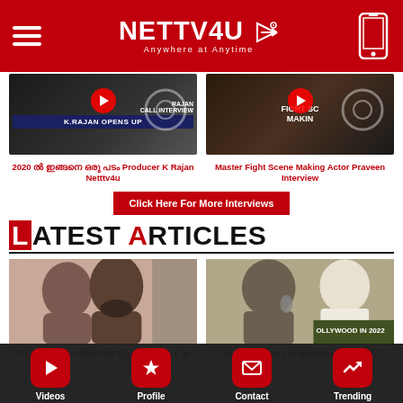NETTV4U — Anywhere at Anytime
[Figure (screenshot): K.Rajan Opens Up thumbnail with play button]
2020 ൽ ഇങ്ങനെ ഒരു പടം Producer K Rajan Netttv4u
[Figure (screenshot): Master Fight Scene Making thumbnail with play button]
Master Fight Scene Making Actor Praveen Interview
Click Here For More Interviews
LATEST ARTICLES
[Figure (photo): Top 10 Actors Who Are Good Dancers In - collage of actors]
Top 10 Actors Who Are Good Dancers In
[Figure (photo): Top 10 Singers In Mollywood In 2022 - collage of singers]
Top 10 Singers In Mollywood In 2022
Videos | Profile | Contact | Trending